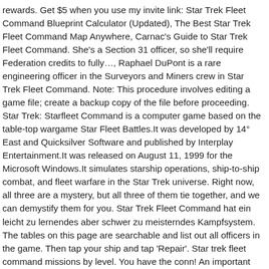rewards. Get $5 when you use my invite link: Star Trek Fleet Command Blueprint Calculator (Updated), The Best Star Trek Fleet Command Map Anywhere, Carnac's Guide to Star Trek Fleet Command. She's a Section 31 officer, so she'll require Federation credits to fully…, Raphael DuPont is a rare engineering officer in the Surveyors and Miners crew in Star Trek Fleet Command. Note: This procedure involves editing a game file; create a backup copy of the file before proceeding. Star Trek: Starfleet Command is a computer game based on the table-top wargame Star Fleet Battles.It was developed by 14° East and Quicksilver Software and published by Interplay Entertainment.It was released on August 11, 1999 for the Microsoft Windows.It simulates starship operations, ship-to-ship combat, and fleet warfare in the Star Trek universe. Right now, all three are a mystery, but all three of them tie together, and we can demystify them for you. Star Trek Fleet Command hat ein leicht zu lernendes aber schwer zu meisterndes Kampfsystem. The tables on this page are searchable and list out all officers in the game. Then tap your ship and tap 'Repair'. Star trek fleet command missions by level. You have the conn! An important part of Star Trek Fleet command is constructing new buildings and bases. (This research requires you to use increasing amounts of Dilithium and Parsteel each time.) Special Offer $9.99 ... #Gathley:hwPrENG_fMlF_Events-Calendar-and-Guide-Aber